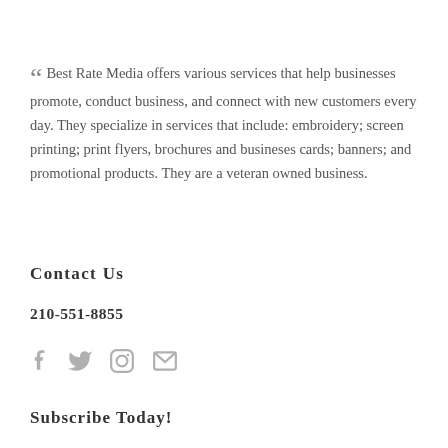Best Rate Media offers various services that help businesses promote, conduct business, and connect with new customers every day. They specialize in services that include: embroidery; screen printing; print flyers, brochures and busineses cards; banners; and promotional products. They are a veteran owned business.
Contact Us
210-551-8855
[Figure (other): Social media icons: Facebook, Twitter, Instagram, Email]
Subscribe Today!